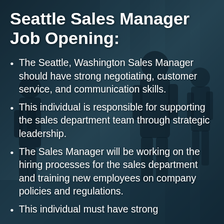[Figure (photo): Blurred background showing silhouettes of business people walking in a modern office or corridor with teal/blue tones]
Seattle Sales Manager Job Opening:
The Seattle, Washington Sales Manager should have strong negotiating, customer service, and communication skills.
This individual is responsible for supporting the sales department team through strategic leadership.
The Sales Manager will be working on the hiring processes for the sales department and training new employees on company policies and regulations.
This individual must have strong